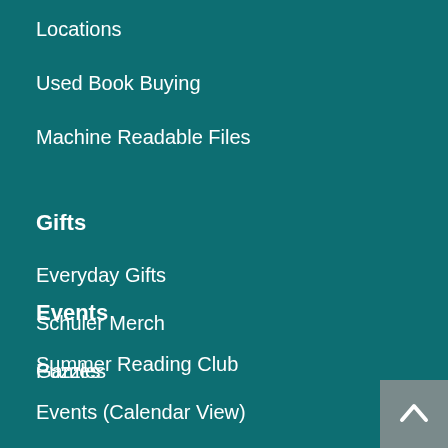Locations
Used Book Buying
Machine Readable Files
Gifts
Everyday Gifts
Schuler Merch
Games
Puzzles
Events
Summer Reading Club
Events (Calendar View)